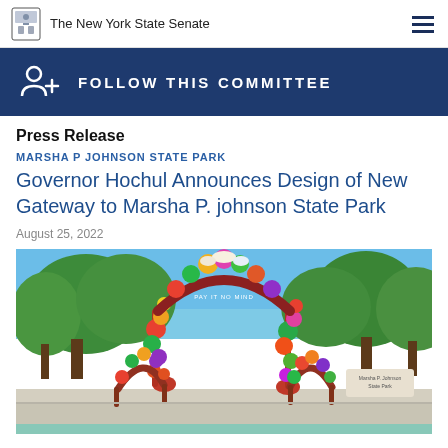The New York State Senate
FOLLOW THIS COMMITTEE
Press Release
MARSHA P JOHNSON STATE PARK
Governor Hochul Announces Design of New Gateway to Marsha P. johnson State Park
August 25, 2022
[Figure (photo): Colorful floral arch gateway structure at Marsha P. Johnson State Park with trees in the background and a sandy/paved area in the foreground]